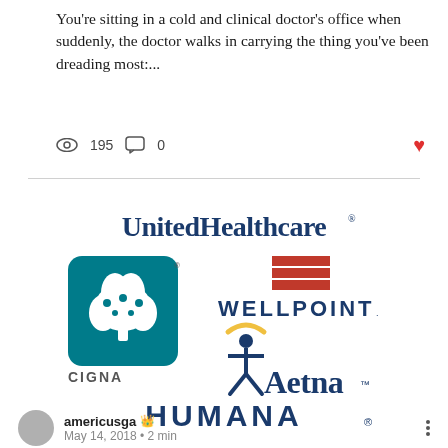You're sitting in a cold and clinical doctor's office when suddenly, the doctor walks in carrying the thing you've been dreading most:...
[Figure (infographic): Insurance company logos: UnitedHealthcare, WellPoint (with American flag icon), Cigna (with teal tree logo), Aetna (with figure/halo logo), Humana]
americusga 👑
May 14, 2018 • 2 min